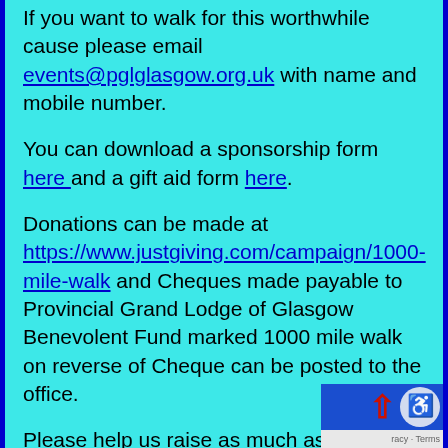If you want to walk for this worthwhile cause please email events@pglglasgow.org.uk with name and mobile number.
You can download a sponsorship form here and a gift aid form here.
Donations can be made at https://www.justgiving.com/campaign/1000-mile-walk and Cheques made payable to Provincial Grand Lodge of Glasgow Benevolent Fund marked 1000 mile walk on reverse of Cheque can be posted to the office.
Please help us raise as much as we can to support the Hospice in all they do. The Prince and Princess of Wales Hospice is a Registered Scottish Charity No. SC012372.